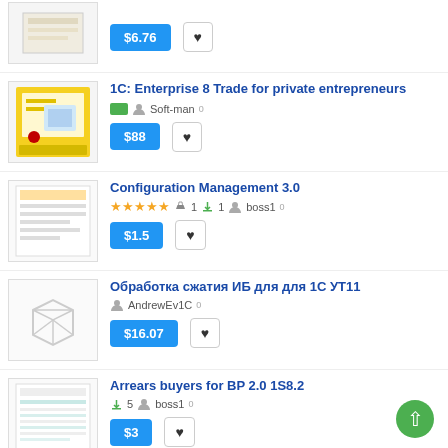[Figure (screenshot): Top partial listing showing price $6.76 and heart button]
[Figure (photo): 1C Enterprise 8 Trade software box (yellow)]
1C: Enterprise 8 Trade for private entrepreneurs
Soft-man 0
$88 (price button) heart button
[Figure (screenshot): Configuration Management 3.0 product document thumbnail]
Configuration Management 3.0
★★★★★ 👍1 ⬇1 boss1 0
$1.5 (price button) heart button
[Figure (illustration): Box/package outline icon for Обработка сжатия ИБ listing]
Обработка сжатия ИБ для для 1С УТ11
AndrewEv1C 0
$16.07 (price button) heart button
[Figure (screenshot): Arrears buyers for BP 2.0 1S8.2 document thumbnail]
Arrears buyers for BP 2.0 1S8.2
⬇5 boss1 0
$3 (price button) heart button